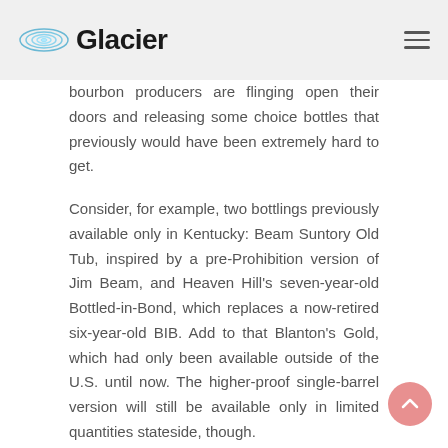Glacier
bourbon producers are flinging open their doors and releasing some choice bottles that previously would have been extremely hard to get.
Consider, for example, two bottlings previously available only in Kentucky: Beam Suntory Old Tub, inspired by a pre-Prohibition version of Jim Beam, and Heaven Hill's seven-year-old Bottled-in-Bond, which replaces a now-retired six-year-old BIB. Add to that Blanton's Gold, which had only been available outside of the U.S. until now. The higher-proof single-barrel version will still be available only in limited quantities stateside, though.